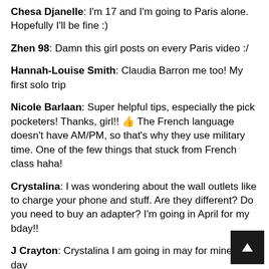Chesa Djanelle: I'm 17 and I'm going to Paris alone. Hopefully I'll be fine :)
Zhen 98: Damn this girl posts on every Paris video :/
Hannah-Louise Smith: Claudia Barron me too! My first solo trip
Nicole Barlaan: Super helpful tips, especially the pick pocketers! Thanks, girl!! 👍 The French language doesn't have AM/PM, so that's why they use military time. One of the few things that stuck from French class haha!
Crystalina: I was wondering about the wall outlets like to charge your phone and stuff. Are they different? Do you need to buy an adapter? I'm going in April for my bday!!
J Crayton: Crystalina I am going in may for mine day